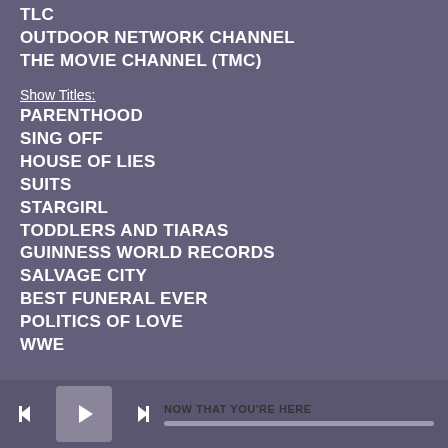TLC
OUTDOOR NETWORK CHANNEL
THE MOVIE CHANNEL (TMC)
Show Titles:
PARENTHOOD
SING OFF
HOUSE OF LIES
SUITS
STARGIRL
TODDLERS AND TIARAS
GUINNESS WORLD RECORDS
SALVAGE CITY
BEST FUNERAL EVER
POLITICS OF LOVE
WWE
NOW THAT YOU'RE HERE